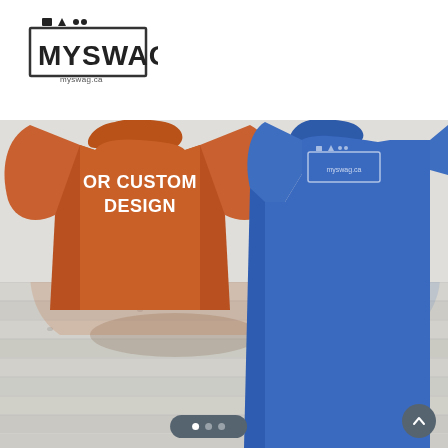[Figure (logo): MYSWAG logo with icons and URL myswag.ca]
[Figure (photo): Product mockup showing two t-shirts: an orange/rust colored t-shirt with white text 'OR CUSTOM DESIGN' on the chest, and a blue t-shirt with the MYSWAG logo placeholder, both floating above a white wood plank floor surface with reflections below. Navigation dots and an up arrow button appear at the bottom.]